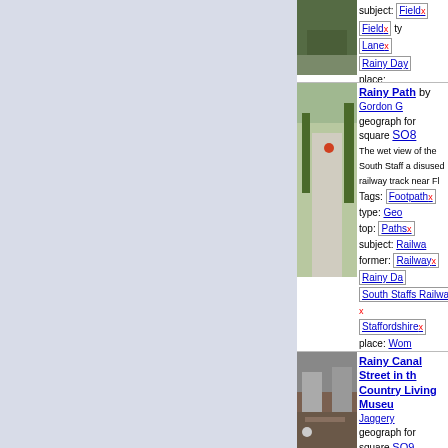[Figure (illustration): Light blue/lavender sidebar panel on the left side of the page]
subject: Field x Field x type: Lane x Rainy Day place: Staffordshire x
Rainy Path by Gordon G geograph for square SO8 The wet view of the South Staffs a disused railway track near Fl Tags: Footpath x type: Geo top: Paths x subject: Railway former: Railway x Rainy Day South Staffs Railway Walk x Staffordshire x place: Wom
Rainy Canal Street in the Country Living Museum Jaggery geograph for square SO9 Looking towards the Bottle & G Tags: Black Country Living top: Historic Sites and Artefacts Rainy Day